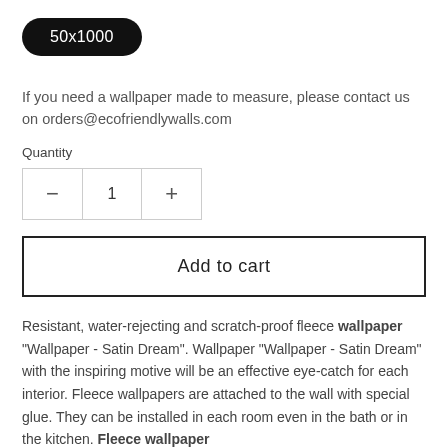50x1000
If you need a wallpaper made to measure, please contact us on orders@ecofriendlywalls.com
Quantity
− 1 +
Add to cart
Resistant, water-rejecting and scratch-proof fleece wallpaper "Wallpaper - Satin Dream". Wallpaper "Wallpaper - Satin Dream" with the inspiring motive will be an effective eye-catch for each interior. Fleece wallpapers are attached to the wall with special glue. They can be installed in each room even in the bath or in the kitchen. Fleece wallpaper